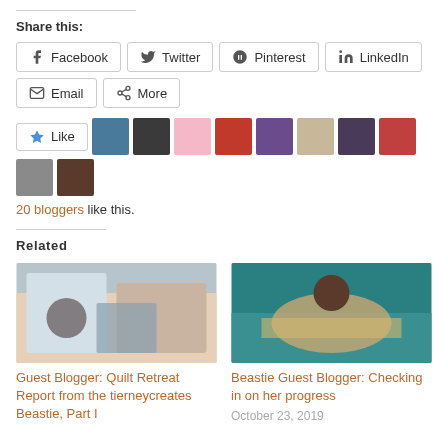Share this:
Facebook
Twitter
Pinterest
LinkedIn
Email
More
20 bloggers like this.
Related
Guest Blogger: Quilt Retreat Report from the tierneycreates Beastie, Part I
Beastie Guest Blogger: Checking in on her progress
October 23, 2019